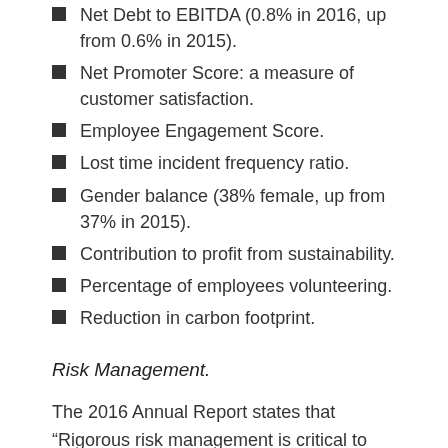Net Debt to EBITDA (0.8% in 2016, up from 0.6% in 2015).
Net Promoter Score: a measure of customer satisfaction.
Employee Engagement Score.
Lost time incident frequency ratio.
Gender balance (38% female, up from 37% in 2015).
Contribution to profit from sustainability.
Percentage of employees volunteering.
Reduction in carbon footprint.
Risk Management.
The 2016 Annual Report states that “Rigorous risk management is critical to achievement of our strategic objectives and it continues to remain a key part of our business model.”[64]  It goes on to describe in detail